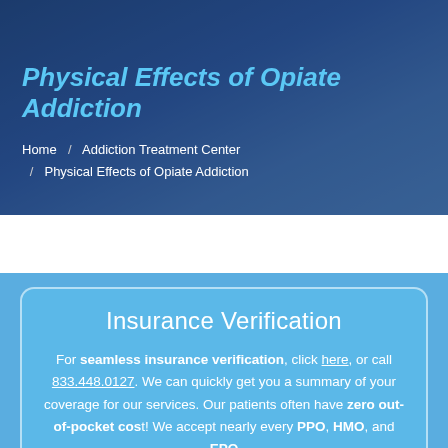Physical Effects of Opiate Addiction
Home / Addiction Treatment Center / Physical Effects of Opiate Addiction
Insurance Verification
For seamless insurance verification, click here, or call 833.448.0127. We can quickly get you a summary of your coverage for our services. Our patients often have zero out-of-pocket cost! We accept nearly every PPO, HMO, and EPO